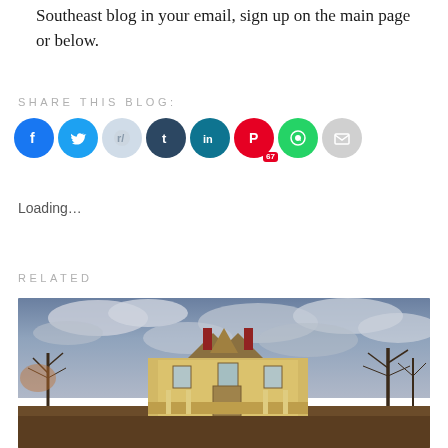Southeast blog in your email, sign up on the main page or below.
SHARE THIS BLOG:
[Figure (other): Row of social media share buttons: Facebook (blue), Twitter (light blue), Reddit (light blue/gray), Tumblr (dark navy), LinkedIn (teal), Pinterest (red) with badge 67, WhatsApp (green), Email (gray)]
Loading…
RELATED
[Figure (photo): An old abandoned Victorian-style house with yellow trim, two chimneys, surrounded by bare winter trees under a dramatic cloudy sky. Warm golden light on the house facade.]